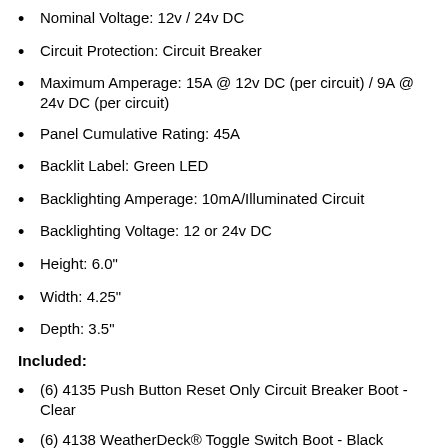Nominal Voltage: 12v / 24v DC
Circuit Protection: Circuit Breaker
Maximum Amperage: 15A @ 12v DC (per circuit) / 9A @ 24v DC (per circuit)
Panel Cumulative Rating: 45A
Backlit Label: Green LED
Backlighting Amperage: 10mA/Illuminated Circuit
Backlighting Voltage: 12 or 24v DC
Height: 6.0"
Width: 4.25"
Depth: 3.5"
Included:
(6) 4135 Push Button Reset Only Circuit Breaker Boot - Clear
(6) 4138 WeatherDeck® Toggle Switch Boot - Black
(6) 4150 WeatherDeck® Toggle Switch SPST - ON-OFF
(1) 4215 Waterproof DC Label Kit - 30 Black Square Labels V1